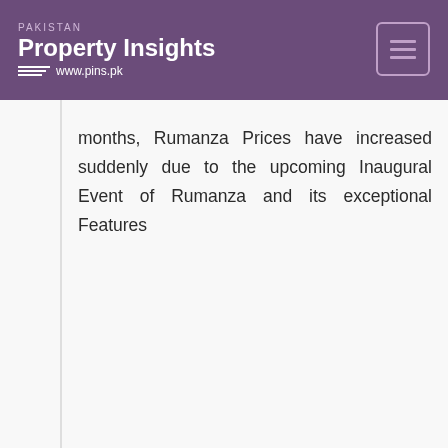PAKISTAN Property Insights www.pins.pk
months, Rumanza Prices have increased suddenly due to the upcoming Inaugural Event of Rumanza and its exceptional Features